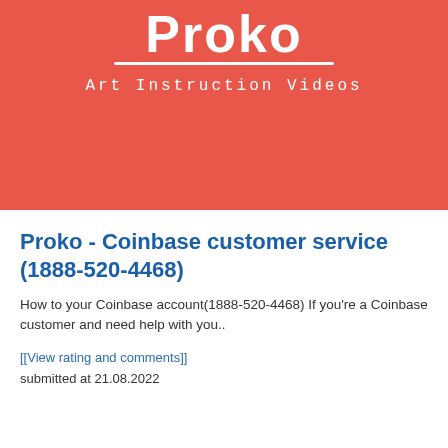[Figure (logo): Proko Art Instruction Videos logo — white script text 'Proko' with underline on a coral/red background, with tagline 'Art Instruction Videos' in monospaced white letters]
Proko - Coinbase customer service (1888-520-4468)
How to your Coinbase account(1888-520-4468) If you're a Coinbase customer and need help with you..
[[View rating and comments]]
submitted at 21.08.2022